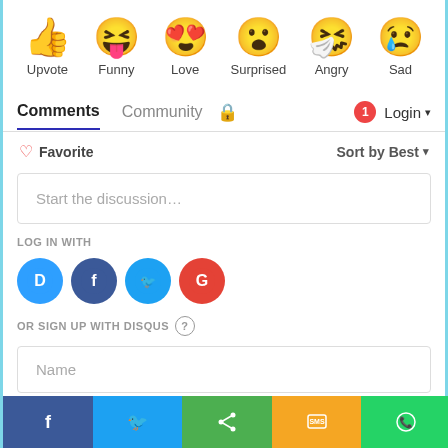[Figure (infographic): Six emoji reaction buttons in a row: thumbs up (Upvote), laughing face with tongue (Funny), heart eyes face (Love), surprised face (Surprised), angry face with tissue (Angry), sad face with tear (Sad)]
Comments  Community  🔒  1  Login ▾
♡ Favorite    Sort by Best ▾
Start the discussion…
LOG IN WITH
[Figure (infographic): Four social login buttons: Disqus (blue D in speech bubble), Facebook (dark blue F circle), Twitter (light blue bird circle), Google (red G circle)]
OR SIGN UP WITH DISQUS ?
Name
[Figure (infographic): Bottom share bar with five colored segments: Facebook (dark blue, f icon), Twitter (light blue, bird icon), Share (green, share icon), SMS (yellow/orange, SMS icon), WhatsApp (green, phone icon)]